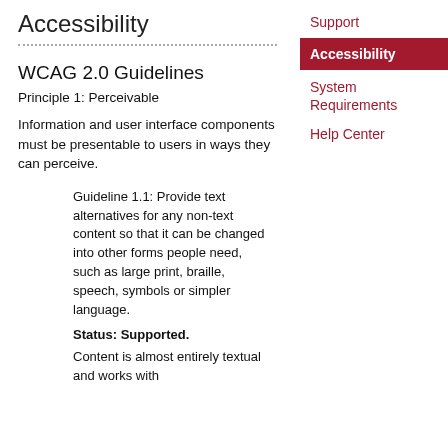Accessibility
WCAG 2.0 Guidelines
Principle 1: Perceivable
Information and user interface components must be presentable to users in ways they can perceive.
Guideline 1.1: Provide text alternatives for any non-text content so that it can be changed into other forms people need, such as large print, braille, speech, symbols or simpler language.
Status: Supported.
Content is almost entirely textual and works with
Support
Accessibility
System Requirements
Help Center